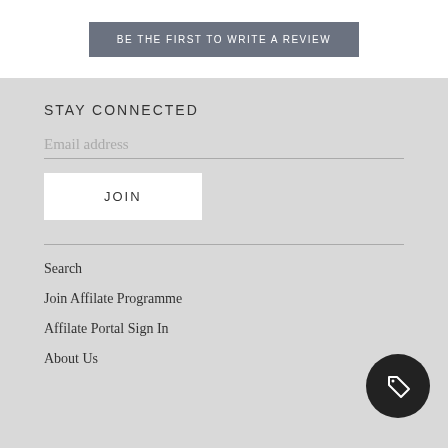BE THE FIRST TO WRITE A REVIEW
STAY CONNECTED
Email address
JOIN
Search
Join Affilate Programme
Affilate Portal Sign In
About Us
[Figure (logo): Dark circular button with a tag/label icon in the center]